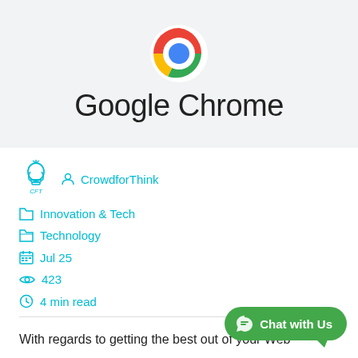[Figure (logo): Google Chrome logo — circular icon with red, yellow, green outer ring and blue center, with the text 'Google Chrome' below in dark gray]
[Figure (logo): CrowdforThink logo — lightbulb icon with CFT text]
CrowdforThink
Innovation & Tech
Technology
Jul 25
423
4 min read
With regards to getting the best out of your Web